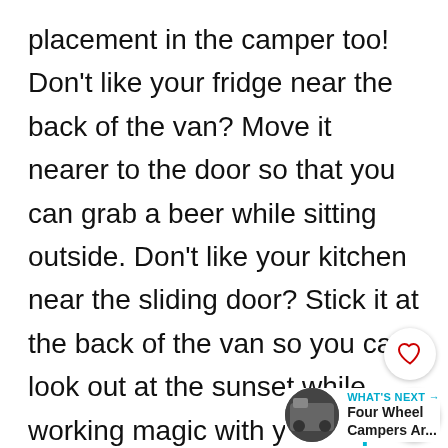placement in the camper too! Don't like your fridge near the back of the van? Move it nearer to the door so that you can grab a beer while sitting outside. Don't like your kitchen near the sliding door? Stick it at the back of the van so you can look out at the sunset while working magic with your top cooking accessories. The sky is the limit and there are as many configurations and style as your imagination can conjure up!